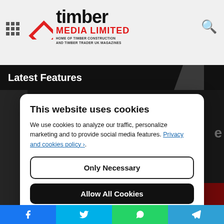[Figure (logo): Timber Media Limited logo with red diamond icon and tagline: HOME OF TIMBER CONSTRUCTION AND TIMBER TRADER UK MAGAZINES]
Latest Features
This website uses cookies
We use cookies to analyze our traffic, personalize marketing and to provide social media features. Privacy and cookies policy ›.
Only Necessary
Allow All Cookies
Configure Settings ›